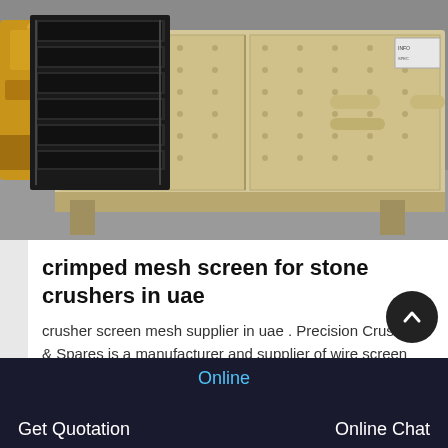[Figure (photo): Industrial vibrating screen machine with black steel frame and cream/beige colored body with bolted panels, photographed in a workshop or warehouse setting with yellow equipment visible in background.]
crimped mesh screen for stone crushers in uae
crusher screen mesh supplier in uae . Precision Crushers & Spares is a manufacturer and supplier of wire screen mesh, Different...
Online  Get Quotation  Online Chat